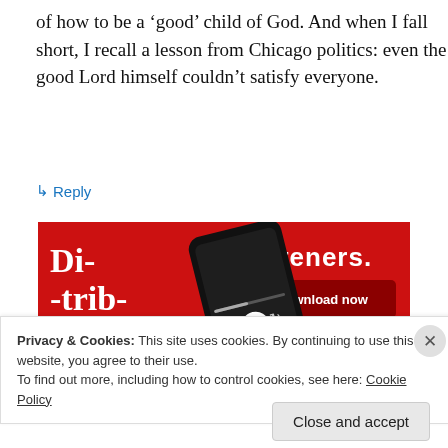of how to be a ‘good’ child of God. And when I fall short, I recall a lesson from Chicago politics: even the good Lord himself couldn’t satisfy everyone.
↳ Reply
[Figure (screenshot): Advertisement banner with red background showing a smartphone/audio app interface with text 'Dis-trib-uted' and 'listeners.' with a 'Download now' button]
Privacy & Cookies: This site uses cookies. By continuing to use this website, you agree to their use.
To find out more, including how to control cookies, see here: Cookie Policy
Close and accept